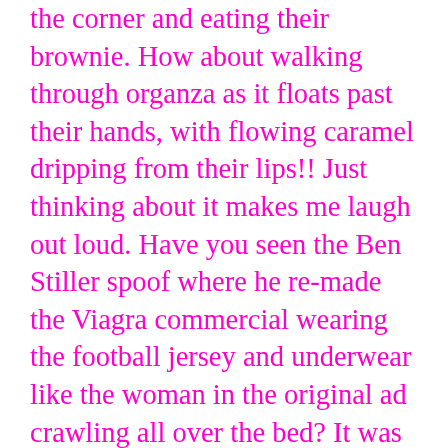the corner and eating their brownie.  How about walking through organza as it floats past their hands, with flowing caramel dripping from their lips!!  Just thinking about it makes me laugh out loud. Have you seen the Ben Stiller spoof where he re-made the Viagra commercial wearing the football jersey and underwear like the woman in the original ad crawling all over the bed?  It was brilliant and equally ridiculous. I think that I'm going to have to have my own private boycott of certain companies, until they get a grip on reality and stop marketing their products like women are completely mindless chocolate eating machines.  I would love to hear your thoughts on this.   But in the meantime, I guess we're going to have to continue to watch all of the